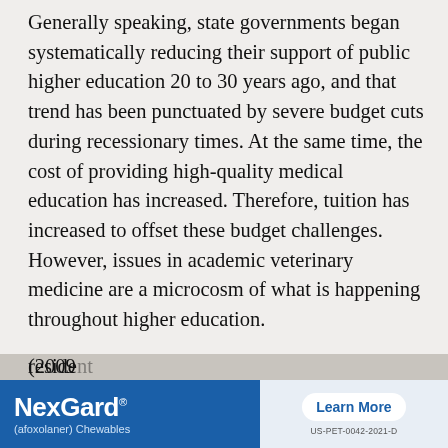Generally speaking, state governments began systematically reducing their support of public higher education 20 to 30 years ago, and that trend has been punctuated by severe budget cuts during recessionary times. At the same time, the cost of providing high-quality medical education has increased. Therefore, tuition has increased to offset these budget challenges. However, issues in academic veterinary medicine are a microcosm of what is happening throughout higher education.
I do not view the costs of veterinary education as out of control. In 2013, the median annual cost for tuition at a public U.S. college of veterinary medicine was $20,911. Average resident tuition for human medical school was $26,300 (2013); average reside... (2009...
[Figure (other): Advertisement banner for NexGard (afoxolaner) Chewables with a 'Learn More' button and product code US-PET-0042-2021-D]